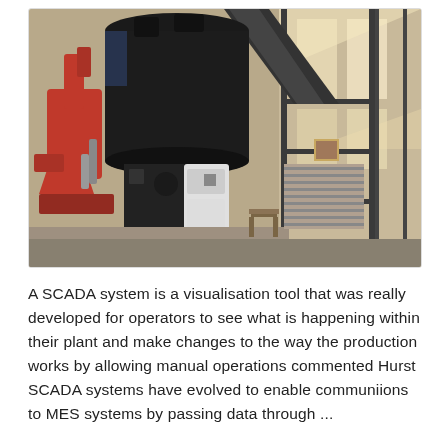[Figure (photo): Industrial facility interior showing a large black cylindrical machine or vessel with a red mechanical arm/loader on the left side, metal scaffolding and structural steel framework, and windows with bright light on the right. Appears to be a mining or processing plant.]
A SCADA system is a visualisation tool that was really developed for operators to see what is happening within their plant and make changes to the way the production works by allowing manual operations commented Hurst SCADA systems have evolved to enable communiions to MES systems by passing data through ...